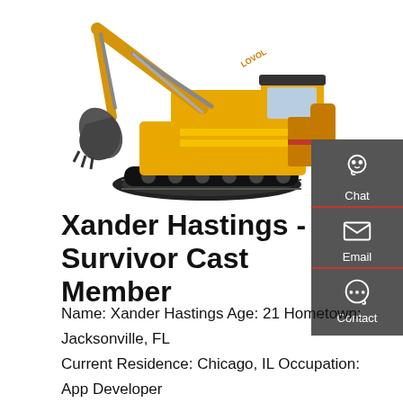[Figure (photo): A yellow LOVOL brand excavator/crawler excavator on white background]
[Figure (infographic): Dark grey sidebar with Chat (headset icon), Email (envelope icon), and Contact (speech bubble icon) buttons with red dividers]
Xander Hastings - Survivor Cast Member
Name: Xander Hastings Age: 21 Hometown: Jacksonville, FL Current Residence: Chicago, IL Occupation: App Developer Hobbies: Free climbing, road tripping, antique shopping, graphic design 3 Words to Describe You: Independent, resilient, adventurous Pet Peeves: Laziness and cockiness.